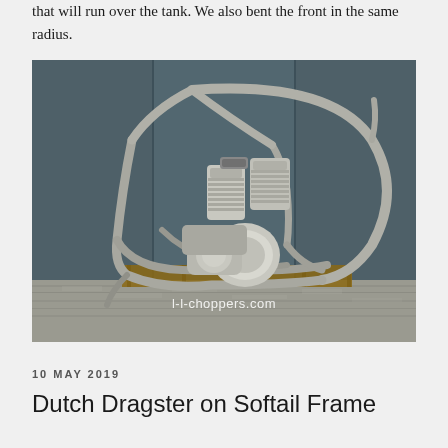that will run over the tank. We also bent the front in the same radius.
[Figure (photo): A custom motorcycle frame (chopper/softail style) with a V-twin engine mounted, sitting on a wooden pallet in front of a gray wall. The bare metal tube frame has a distinctive curved backbone. Watermark reads 'l-l-choppers.com'.]
10 MAY 2019
Dutch Dragster on Softail Frame